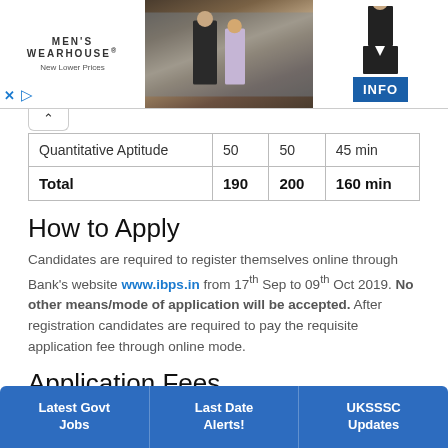[Figure (screenshot): Men's Wearhouse advertisement banner with couple in formal wear and tuxedo image with INFO button]
| Section | Questions | Marks | Time |
| --- | --- | --- | --- |
| Quantitative Aptitude | 50 | 50 | 45 min |
| Total | 190 | 200 | 160 min |
How to Apply
Candidates are required to register themselves online through Bank's website www.ibps.in from 17th Sep to 09th Oct 2019. No other means/mode of application will be accepted. After registration candidates are required to pay the requisite application fee through online mode.
Application Fees
Rs.600 fo...
Rs.100 for all others.
[Figure (screenshot): Bottom navigation bar with Latest Govt Jobs, Last Date Alerts!, UKSSSC Updates buttons]